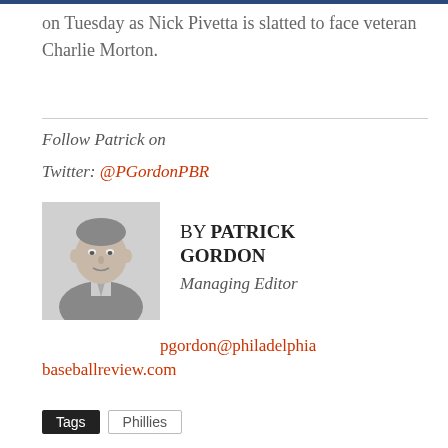on Tuesday as Nick Pivetta is slatted to face veteran Charlie Morton.
Follow Patrick on
Twitter: @PGordonPBR
[Figure (photo): Black and white headshot photo of Patrick Gordon, a heavyset man in a suit and tie]
BY PATRICK GORDON
Managing Editor
pgordon@philadelphiabaseballreview.com
Tags  Phillies